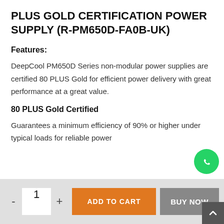PLUS GOLD CERTIFICATION POWER SUPPLY (R-PM650D-FA0B-UK)
Features:
DeepCool PM650D Series non-modular power supplies are certified 80 PLUS Gold for efficient power delivery with great performance at a great value.
80 PLUS Gold Certified
Guarantees a minimum efficiency of 90% or higher under typical loads for reliable power delivery.